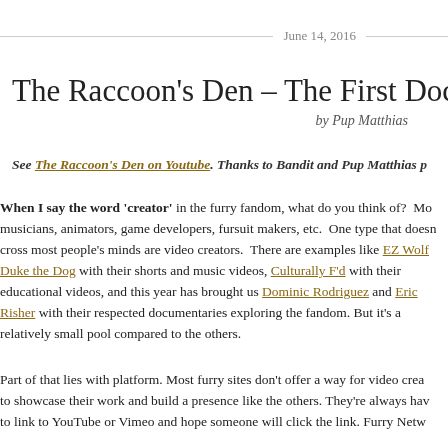June 14, 2016
The Raccoon's Den – The First Docudramedy
by Pup Matthias
See The Raccoon's Den on Youtube. Thanks to Bandit and Pup Matthias p…
When I say the word 'creator' in the furry fandom, what do you think of? Mo… musicians, animators, game developers, fursuit makers, etc. One type that doesn… cross most people's minds are video creators. There are examples like EZ Wolf Duke the Dog with their shorts and music videos, Culturally F'd with their educational videos, and this year has brought us Dominic Rodriguez and Eric Risher with their respected documentaries exploring the fandom. But it's a relatively small pool compared to the others.
Part of that lies with platform. Most furry sites don't offer a way for video crea… to showcase their work and build a presence like the others. They're always hav… to link to YouTube or Vimeo and hope someone will click the link. Furry Netw…